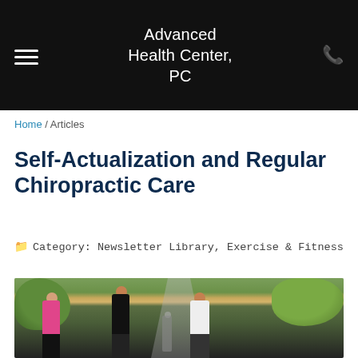Advanced Health Center, PC
Home / Articles
Self-Actualization and Regular Chiropractic Care
Category: Newsletter Library, Exercise & Fitness
[Figure (photo): Three people walking together on a park path, one wearing a pink top, one in black, one in a white shirt, with trees and greenery in the background]